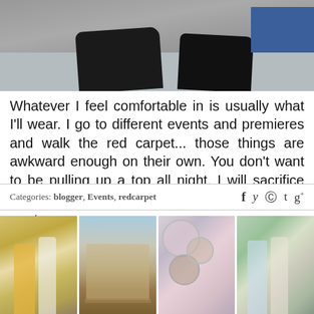[Figure (photo): Top portion of a photo showing feet/shoes on a grey pavement/ground surface with a blue rectangle in the upper right]
Whatever I feel comfortable in is usually what I'll wear. I go to different events and premieres and walk the red carpet... those things are awkward enough on their own. You don't want to be pulling up a top all night. I will sacrifice foot comfort though. I love high heels.
Mandy moore
Categories: blogger, Events, redcarpet
[Figure (photo): Four thumbnail photos at the bottom: people on street, classical building with columns, blonde girl with circle overlays, women on street]